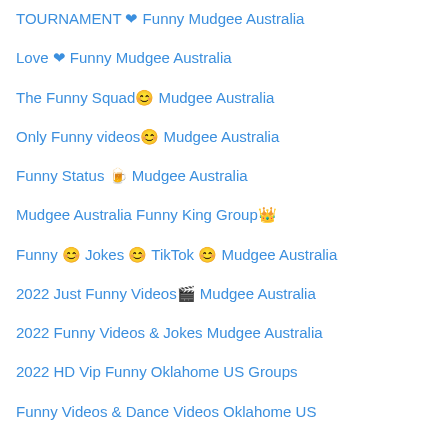TOURNAMENT ❤ Funny Mudgee Australia
Love ❤ Funny Mudgee Australia
The Funny Squad😊 Mudgee Australia
Only Funny videos😊 Mudgee Australia
Funny Status 🍺 Mudgee Australia
Mudgee Australia Funny King Group👑
Funny 😊 Jokes 😊 TikTok 😊 Mudgee Australia
2022 Just Funny Videos🎬 Mudgee Australia
2022 Funny Videos & Jokes Mudgee Australia
2022 HD Vip Funny Oklahome US Groups
Funny Videos & Dance Videos Oklahome US